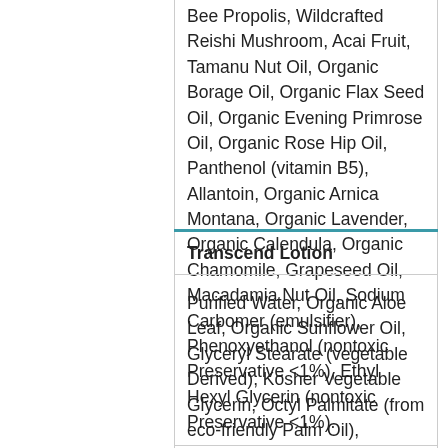Bee Propolis, Wildcrafted Reishi Mushroom, Acai Fruit, Tamanu Nut Oil, Organic Borage Oil, Organic Flax Seed Oil, Organic Evening Primrose Oil, Organic Rose Hip Oil, Panthenol (vitamin B5), Allantoin, Organic Arnica Montana, Organic Lavender, Organic Calendula, Organic Chamomile, Grapeseed Oil, Macadamia Nut Oil, Sodium Carbomer (emulsifier), Phenoxyethanol (nontoxic Preservative <1%), Ethyl Hexyl Glycerin (nontoxic Preservative <1%).
Transcend Lotion
Purified Water, Organic Aloe Leaf, Organic Sunflower Oil, Glyceryl Stearate (vegetable Derived), Kosher Vegetable Glycerin, Octyl Palmitate (from eco-friendly Palm Oil), Organic Coconut Oil, Cocoa Butter, Cetyl Alcohol, Potassium Stearate, Organic Beeswax, Organic Jojoba Oil, Natural Essential Oils, Wildcrafted Bee Propolis, Wildcrafted Reishi Mushroom, Acai Fruit, Tamanu Nut Oil, Organic Borage Oil, Organic Flax Seed Oil, Organic Evening Primrose Oil, Organic Rose Hip Oil, Panthenol